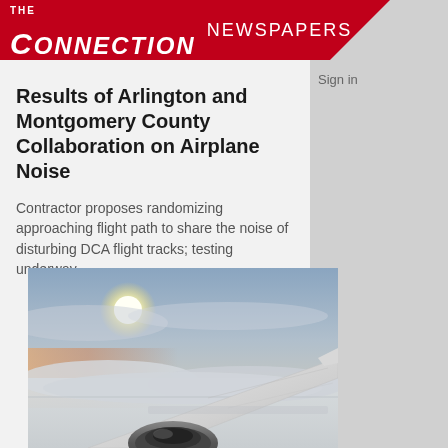THE CONNECTION NEWSPAPERS
Results of Arlington and Montgomery County Collaboration on Airplane Noise
Contractor proposes randomizing approaching flight path to share the noise of disturbing DCA flight tracks; testing underway
[Figure (photo): View from airplane window showing wing and engine against cloudy sky with sun visible, flying above clouds]